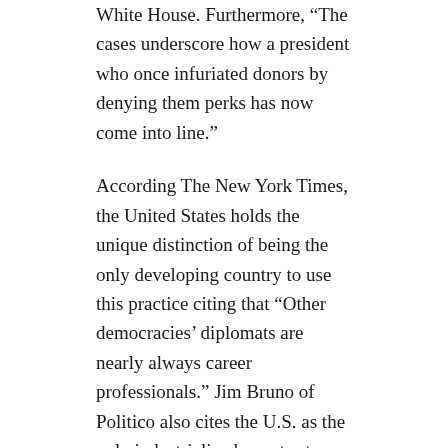White House. Furthermore, “The cases underscore how a president who once infuriated donors by denying them perks has now come into line.”
According The New York Times, the United States holds the unique distinction of being the only developing country to use this practice citing that “Other democracies’ diplomats are nearly always career professionals.” Jim Bruno of Politico also cites the U.S. as the only industrialized country to award diplomatic posts as political spoils.
Surprising to many is the fact that the practice has increased under President Obama’s tenure with political ambassadors at 37% overall and 53% during his second term. This exceeds the 30/70 norm and is the highest since Reagan and Ford at 38%